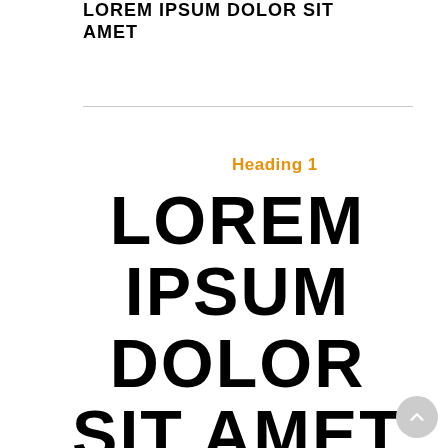LOREM IPSUM DOLOR SIT AMET
Heading 1
LOREM IPSUM DOLOR SIT AMET